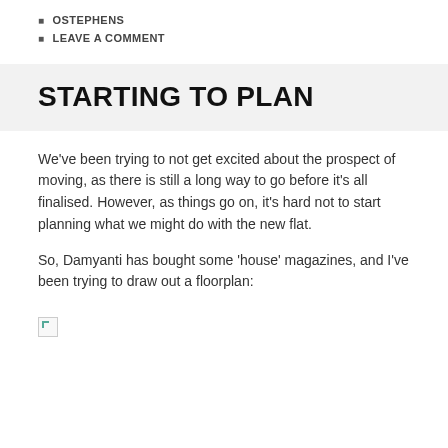OSTEPHENS
LEAVE A COMMENT
STARTING TO PLAN
We've been trying to not get excited about the prospect of moving, as there is still a long way to go before it's all finalised. However, as things go on, it's hard not to start planning what we might do with the new flat.
So, Damyanti has bought some 'house' magazines, and I've been trying to draw out a floorplan:
[Figure (photo): Broken image placeholder icon]